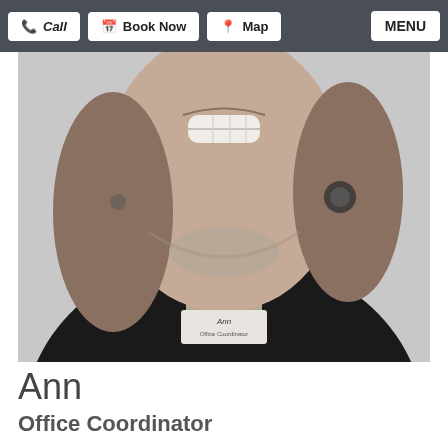Call | Book Now | Map | MENU
[Figure (photo): Black and white close-up portrait photo of a smiling woman with shoulder-length hair wearing a black top and a name badge reading 'Ann Office Coordinator']
Ann
Office Coordinator
Ann lives in St. Charles and has called it home for the last 30 years. She's